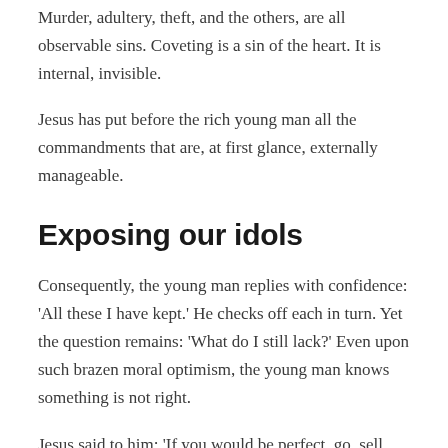Murder, adultery, theft, and the others, are all observable sins. Coveting is a sin of the heart. It is internal, invisible.
Jesus has put before the rich young man all the commandments that are, at first glance, externally manageable.
Exposing our idols
Consequently, the young man replies with confidence: 'All these I have kept.' He checks off each in turn. Yet the question remains: 'What do I still lack?' Even upon such brazen moral optimism, the young man knows something is not right.
Jesus said to him: 'If you would be perfect, go, sell what